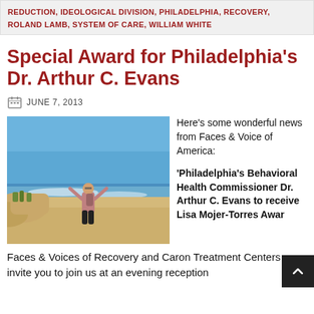REDUCTION, IDEOLOGICAL DIVISION, PHILADELPHIA, RECOVERY, ROLAND LAMB, SYSTEM OF CARE, WILLIAM WHITE
Special Award for Philadelphia's Dr. Arthur C. Evans
JUNE 7, 2013
[Figure (photo): Person standing on a beach with arms raised, blue sky, ocean waves in background]
Here's some wonderful news from Faces & Voice of America:
'Philadelphia's Behavioral Health Commissioner Dr. Arthur C. Evans to receive Lisa Mojer-Torres Award
Faces & Voices of Recovery and Caron Treatment Centers invite you to join us at an evening reception